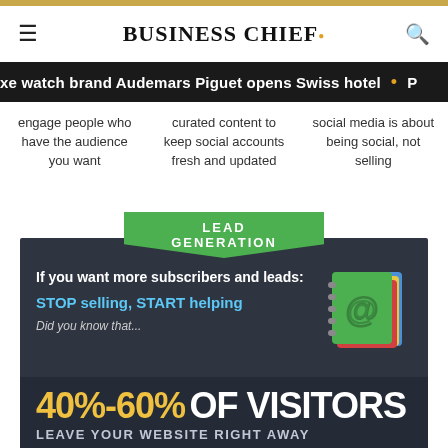BUSINESS CHIEF.
xе watch brand Audemars Piguet opens Swiss hotel • P
engage people who have the audience you want
curated content to keep social accounts fresh and updated
social media is about being social, not selling
[Figure (infographic): Lead generation infographic with green header label 'LEAD GENERATION', dark background card containing text 'If you want more subscribers and leads: STOP selling, START helping', 'Did you know that...', a contact book icon, and bold statistic '40%-60% OF VISITORS LEAVE YOUR WEBSITE RIGHT AWAY']